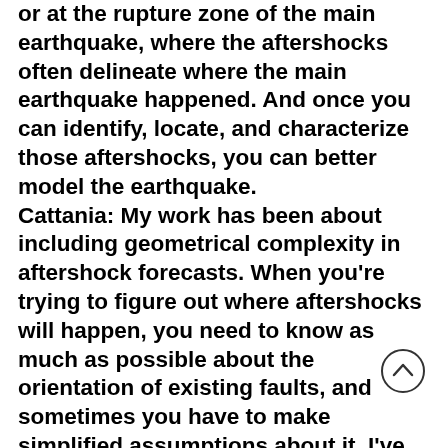or at the rupture zone of the main earthquake, where the aftershocks often delineate where the main earthquake happened. And once you can identify, locate, and characterize those aftershocks, you can better model the earthquake. Cattania: My work has been about including geometrical complexity in aftershock forecasts. When you're trying to figure out where aftershocks will happen, you need to know as much as possible about the orientation of existing faults, and sometimes you have to make simplified assumptions about it. I've developed methods that help better include everything we know, using data and the types of information that Willi...